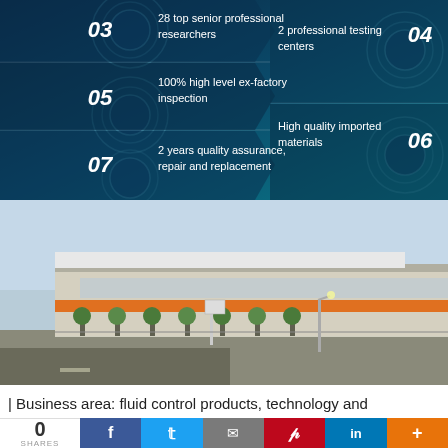[Figure (infographic): Numbered list infographic with dark blue/teal background showing 7 quality features: 03 (partial), 28 top senior professional researchers; 05, 100% high level ex-factory inspection; 07, 2 years quality assurance, repair and replacement; 04, 2 professional testing centers; 06, High quality imported materials]
[Figure (photo): Exterior photo of a large industrial facility / manufacturing plant with orange accent stripe and a multi-story office building on the right, surrounded by roads and trees]
| Business area: fluid control products, technology and
0 SHARES | Facebook | Twitter | Email | Pinterest | LinkedIn | More